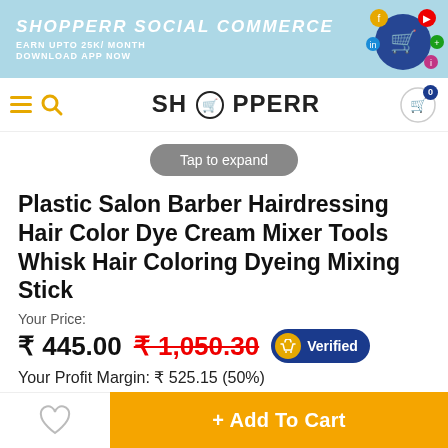SHOPPERR SOCIAL COMMERCE
Earn Upto 25K/ Month
DOWNLOAD APP NOW
[Figure (logo): Shopperr shopping cart logo with social media icons]
[Figure (logo): SHOPPERR brand logo with hamburger menu, search, and cart icons]
Tap to expand
Plastic Salon Barber Hairdressing Hair Color Dye Cream Mixer Tools Whisk Hair Coloring Dyeing Mixing Stick
Your Price:
₹ 445.00  ₹ 1,050.30  Verified
Your Profit Margin: ₹ 525.15 (50%)
+ Add To Cart